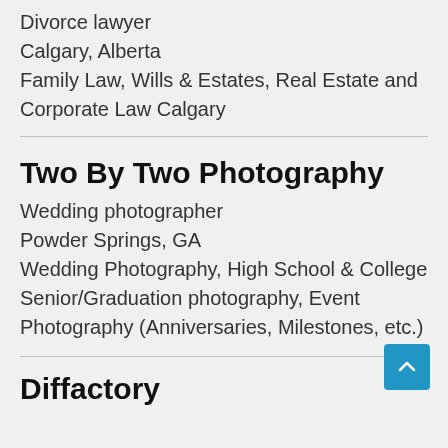Divorce lawyer
Calgary, Alberta
Family Law, Wills & Estates, Real Estate and Corporate Law Calgary
Two By Two Photography
Wedding photographer
Powder Springs, GA
Wedding Photography, High School & College Senior/Graduation photography, Event Photography (Anniversaries, Milestones, etc.)
Diffactory